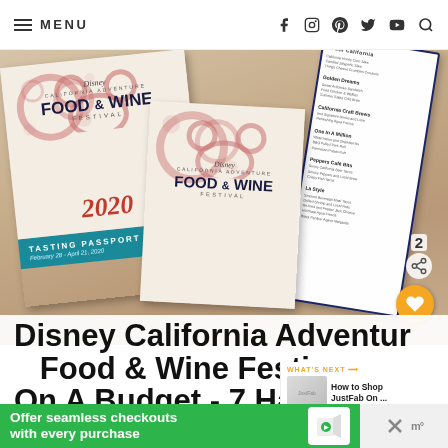MENU | social icons: facebook, instagram, pinterest, twitter, youtube, search
[Figure (photo): Disney California Adventure Food & Wine Festival 2020 Tasting Passports and menu card on a wooden table]
Disney California Adventure Food & Wine Festival On A Budget - 7 Hacks
[Figure (infographic): What's Next widget showing How to Shop JustFab On... with orange arrow]
[Figure (infographic): Green advertisement banner: Offer seamless checkouts with every purchase, with ad icon and close X button]